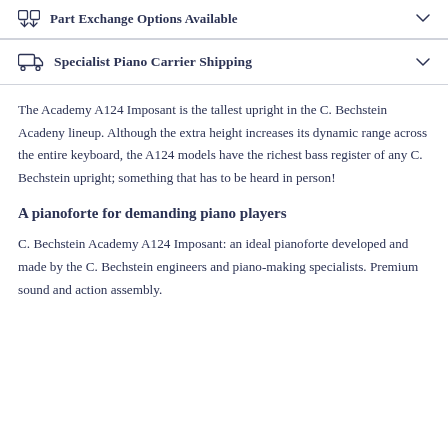Part Exchange Options Available
Specialist Piano Carrier Shipping
The Academy A124 Imposant is the tallest upright in the C. Bechstein Acadeny lineup. Although the extra height increases its dynamic range across the entire keyboard, the A124 models have the richest bass register of any C. Bechstein upright; something that has to be heard in person!
A pianoforte for demanding piano players
C. Bechstein Academy A124 Imposant: an ideal pianoforte developed and made by the C. Bechstein engineers and piano-making specialists. Premium sound and action assembly.